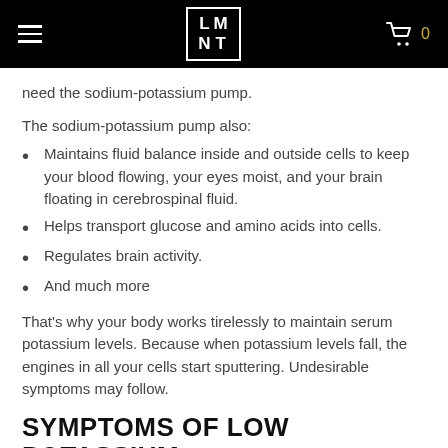LMNT header with navigation
need the sodium-potassium pump.
The sodium-potassium pump also:
Maintains fluid balance inside and outside cells to keep your blood flowing, your eyes moist, and your brain floating in cerebrospinal fluid.
Helps transport glucose and amino acids into cells.
Regulates brain activity.
And much more
That's why your body works tirelessly to maintain serum potassium levels. Because when potassium levels fall, the engines in all your cells start sputtering. Undesirable symptoms may follow.
SYMPTOMS OF LOW POTASSIUM